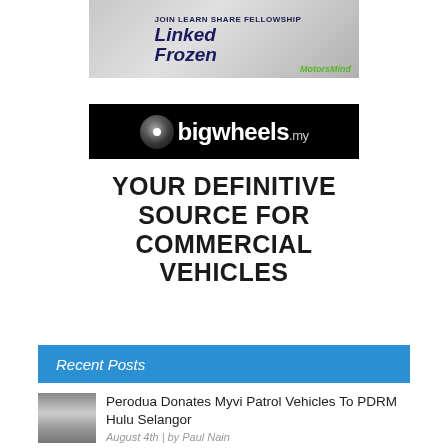[Figure (logo): Car advertisement banner with 'Linked Frozen' text in dark italic script and MotorsMind watermark in green italic text, over a grey car bumper background]
[Figure (logo): bigwheels.my logo — black banner with grey wheel icon on left and white bold text 'bigwheels.my']
YOUR DEFINITIVE SOURCE FOR COMMERCIAL VEHICLES
Recent Posts
[Figure (photo): Thumbnail image of a group of people in front of a building]
Perodua Donates Myvi Patrol Vehicles To PDRM Hulu Selangor